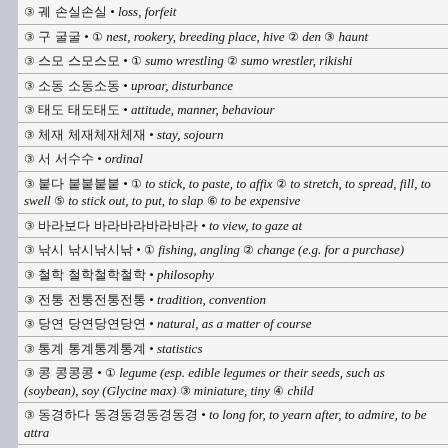③ 궤 손실손실 • loss, forfeit
③ 구 굴굴 • ① nest, rookery, breeding place, hive ② den ③ haunt
③ 스모 스모스모 • ① sumo wrestling ② sumo wrestler, rikishi
③ 소동 소동소동 • uproar, disturbance
③ 태도 태도태도 • attitude, manner, behaviour
③ 체재 체재체재체재 • stay, sojourn
③ 서 서수수 • ordinal
③ 붙다 붙붙붙붙 • ① to stick, to paste, to affix ② to stretch, to spread, fill, to swell ⑤ to stick out, to put, to slap ⑥ to be expensive
③ 바라보다 바라바라바라바라 • to view, to gaze at
③ 낚시 낚시낚시낚 • ① fishing, angling ② change (e.g. for a purchase)
③ 철학 철학철학철학 • philosophy
③ 전통 전통전통전통 • tradition, convention
③ 당연 당연당연당연 • natural, as a matter of course
③ 통계 통계통계통계 • statistics
③ 콩 콩콩콩 • ① legume (esp. edible legumes or their seeds, such as (soybean), soy (Glycine max) ③ miniature, tiny ④ child
③ 동경하다 동경동경동경동경 • to long for, to yearn after, to admire, to be attracted
③ 특징 특징특징특징 • feature, trait, characteristic, pecularity